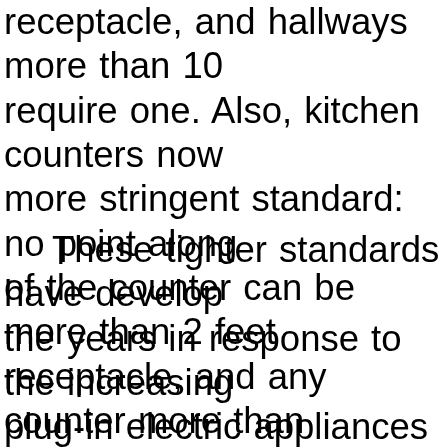receptacle, and hallways more than 10 require one. Also, kitchen counters now more stringent standard: no point along of the counter can be more than 2 feet receptacle, and any counter more than requires a receptacle.
These tighter standards have developed the years in response to the increasing plug-in electric appliances around the h Home electric consumption has been in at a rate of about 5 percent per year for now. And, obviously, older homes have receptacles. It's not uncommon to have receptacle per bedroom in a 1940s era and only one receptacle at the kitchen c Extension cords snaking along the wall